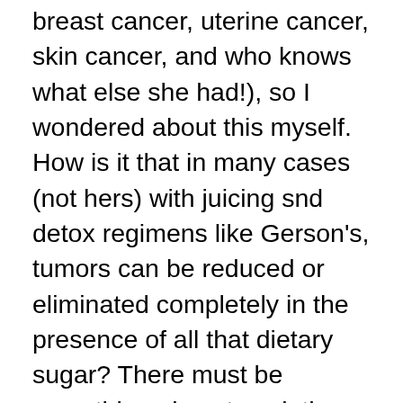breast cancer, uterine cancer, skin cancer, and who knows what else she had!), so I wondered about this myself. How is it that in many cases (not hers) with juicing snd detox regimens like Gerson's, tumors can be reduced or eliminated completely in the presence of all that dietary sugar? There must be something else at work there, as you observe. The enzyme theory seems plausible. So therefore should the recommendation not be to eat the widest possible variety of healthy vegetables, without regard for their sugar content? In other words, by focussing on sugar-avoidance, might we not be in fact avoiding a bunch of healthful foods which contain other keys to optimal health that are not yet understood?